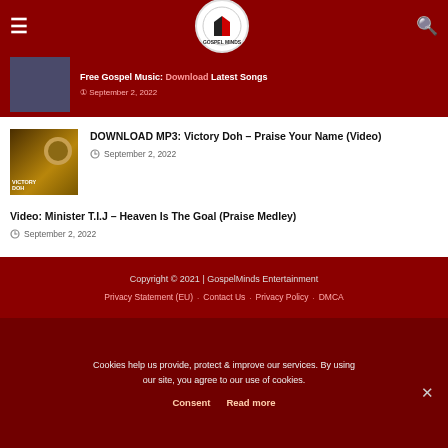GospelMinds Entertainment
DOWNLOAD MP3: Victory Doh – Praise Your Name (Video)
September 2, 2022
Video: Minister T.I.J – Heaven Is The Goal (Praise Medley)
September 2, 2022
Copyright © 2021 | GospelMinds Entertainment
Privacy Statement (EU) . Contact Us . Privacy Policy . DMCA
Cookies help us provide, protect & improve our services. By using our site, you agree to our use of cookies.
Consent   Read more